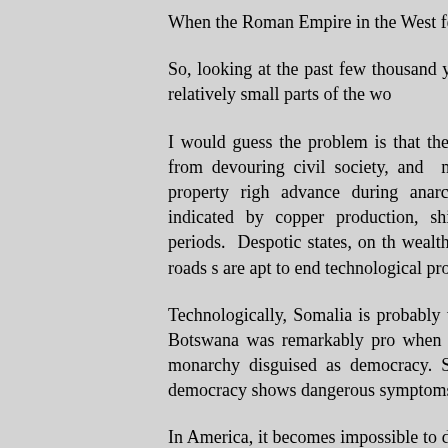When the Roman Empire in the West fell, its GDP dro...
So, looking at the past few thousand years, the nor... periods of civilization in relatively small parts of the wo...
I would guess the problem is that the state lacks the c... necessary to refrain from devouring civil society, and ... necessary to keep the roads safe and property righ... advance during anarchic periods, often quite rapidly, ... as indicated by copper production, shipwrecks, and ... indeed during such periods. Despotic states, on th... wealth, probably because they can make the roads s... are apt to end technological progress, and often rever...
Technologically, Somalia is probably the most capab... southern Africa, while Botswana was remarkably pro... when ruled by a combination of traditional monarchy... disguised as democracy. Singapore trembles towar... pretense of democracy shows dangerous symptoms o...
In America, it becomes impossible to do high tec... without an ever multiplying number of permits, which... multiplying number of bagmenconsultants. This e... resembles the decline of the Song Dynasty, where all... state monopoly, all education aimed at state jobs.
In Rome, the decline of military discipline, for exampl... meant that the legions became more like mobile ha...